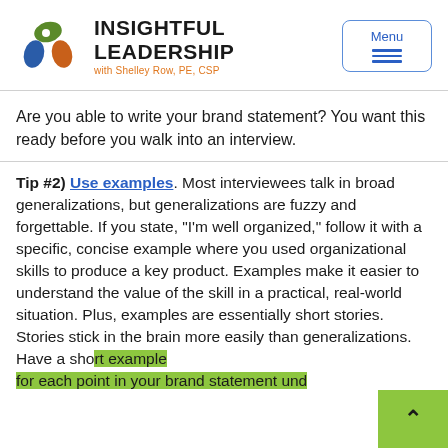[Figure (logo): Insightful Leadership logo: circular icon with green eye on top, blue and orange swoosh shapes below, next to bold text 'INSIGHTFUL LEADERSHIP' with subtitle 'with Shelley Row, PE, CSP' in orange]
Are you able to write your brand statement? You want this ready before you walk into an interview.
Tip #2) Use examples. Most interviewees talk in broad generalizations, but generalizations are fuzzy and forgettable. If you state, “I’m well organized,” follow it with a specific, concise example where you used organizational skills to produce a key product. Examples make it easier to understand the value of the skill in a practical, real-world situation. Plus, examples are essentially short stories. Stories stick in the brain more easily than generalizations. Have a short example for each point in your brand statement und...